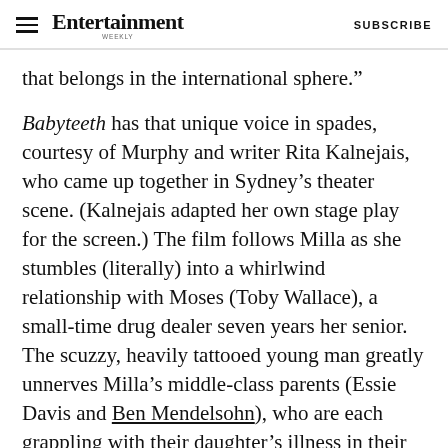Entertainment Weekly | SUBSCRIBE
that belongs in the international sphere."
Babyteeth has that unique voice in spades, courtesy of Murphy and writer Rita Kalnejais, who came up together in Sydney's theater scene. (Kalnejais adapted her own stage play for the screen.) The film follows Milla as she stumbles (literally) into a whirlwind relationship with Moses (Toby Wallace), a small-time drug dealer seven years her senior. The scuzzy, heavily tattooed young man greatly unnerves Milla's middle-class parents (Essie Davis and Ben Mendelsohn), who are each grappling with their daughter's illness in their own dysfunctional way, but he also